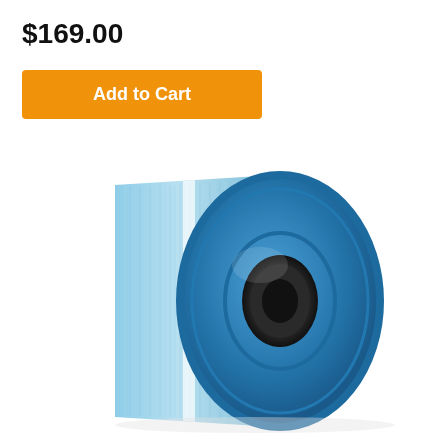$169.00
Add to Cart
[Figure (photo): A cylindrical pool/spa filter cartridge with blue plastic end caps and light blue pleated filter media, viewed from a slight angle showing the circular end face and the pleated side body.]